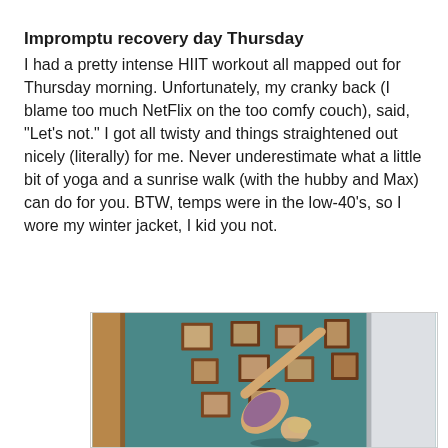Impromptu recovery day Thursday
I had a pretty intense HIIT workout all mapped out for Thursday morning. Unfortunately, my cranky back (I blame too much NetFlix on the too comfy couch), said, "Let's not." I got all twisty and things straightened out nicely (literally) for me. Never underestimate what a little bit of yoga and a sunrise walk (with the hubby and Max) can do for you. BTW, temps were in the low-40's, so I wore my winter jacket, I kid you not.
[Figure (photo): A person in a purple top performing a yoga pose (bent forward, one arm reaching up) against a teal wall with framed photos hanging on it. A wooden door frame is visible on the left and a white door on the right.]